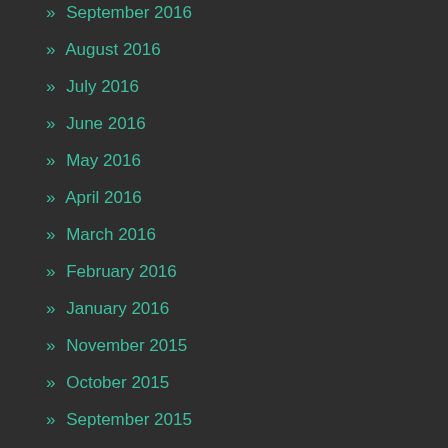» September 2016
» August 2016
» July 2016
» June 2016
» May 2016
» April 2016
» March 2016
» February 2016
» January 2016
» November 2015
» October 2015
» September 2015
» August 2015